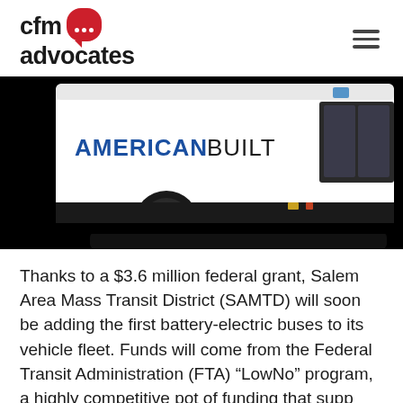cfm advocates
[Figure (photo): Side view of a white transit bus with 'AMERICAN BUILT' text on the side, showing the front wheel well and door area against a black background.]
Thanks to a $3.6 million federal grant, Salem Area Mass Transit District (SAMTD) will soon be adding the first battery-electric buses to its vehicle fleet. Funds will come from the Federal Transit Administration (FTA) “LowNo” program, a highly competitive pot of funding that supports the acquisition of buses and supporting infrastructure that produce low-to-no